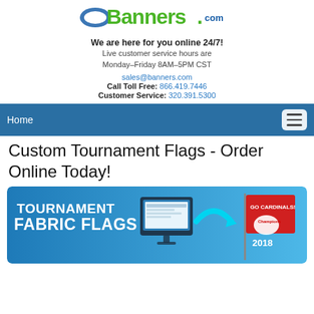[Figure (logo): Banners.com logo with green bold text and blue swoosh graphic]
We are here for you online 24/7!
Live customer service hours are
Monday–Friday 8AM–5PM CST
sales@banners.com
Call Toll Free: 866.419.7446
Customer Service: 320.391.5300
Home
Custom Tournament Flags - Order Online Today!
[Figure (photo): Promotional banner image with blue background showing 'TOURNAMENT FABRIC FLAGS' text on left, a computer monitor in center, a cyan arrow, a red tournament flag on a pole reading 'GO CARDINALS! Champions 2018' and a circular logo on the right. Large white text reads TOURNAMENT FABRIC FLAGS.]